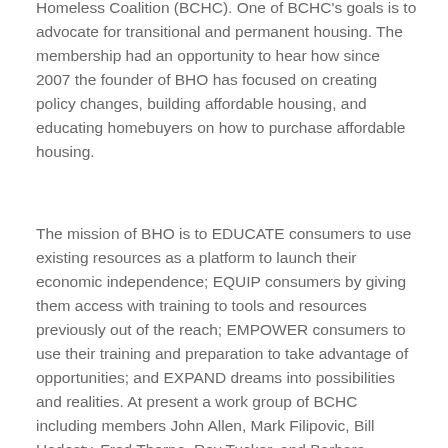Homeless Coalition (BCHC). One of BCHC's goals is to advocate for transitional and permanent housing. The membership had an opportunity to hear how since 2007 the founder of BHO has focused on creating policy changes, building affordable housing, and educating homebuyers on how to purchase affordable housing.
The mission of BHO is to EDUCATE consumers to use existing resources as a platform to launch their economic independence; EQUIP consumers by giving them access with training to tools and resources previously out of the reach; EMPOWER consumers to use their training and preparation to take advantage of opportunities; and EXPAND dreams into possibilities and realities. At present a work group of BCHC including members John Allen, Mark Filipovic, Bill Hadesty, Fred Thorne, Roy Tucker, and Barbara Serafin, have met monthly to educate themselves about affordable housing and advocate for its presence in Brunswick County.